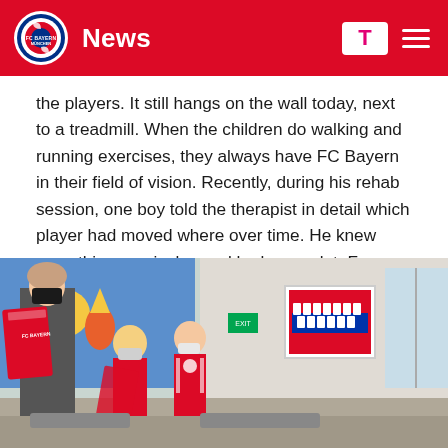News
the players. It still hangs on the wall today, next to a treadmill. When the children do walking and running exercises, they always have FC Bayern in their field of vision. Recently, during his rehab session, one boy told the therapist in detail which player had moved where over time. He knew everything precisely - and he knew a lot. From back then, only Thomas Müller and Manuel Neuer are still in the squad today.
[Figure (photo): Children and a masked adult in a medical/rehabilitation facility. Two children wearing masks, one in FC Bayern red jersey, looking at books or folders. In the background on the wall hangs an FC Bayern team photo in a white frame. The adult woman holds a large red FC Bayern folder.]